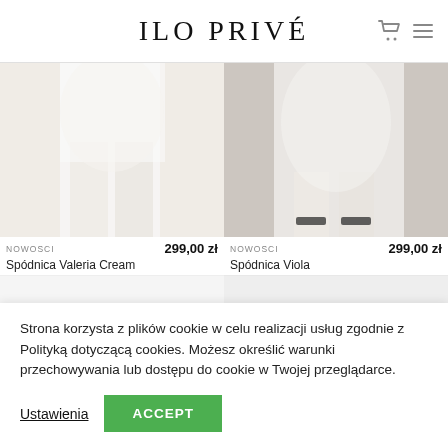ILO PRIVÉ
[Figure (photo): Product photo: lower half of white dress/skirt on a person, light background — Spódnica Valeria Cream]
NOWOsCI   299,00 zł
Spódnica Valeria Cream
[Figure (photo): Product photo: white skirt with black heeled sandals on a grey floor — Spódnica Viola]
NOWOsCI   299,00 zł
Spódnica Viola
[Figure (photo): Product placeholder image — light grey]
[Figure (photo): Product placeholder image — light grey]
Strona korzysta z plików cookie w celu realizacji usług zgodnie z Polityką dotyczącą cookies. Możesz określić warunki przechowywania lub dostępu do cookie w Twojej przeglądarce.